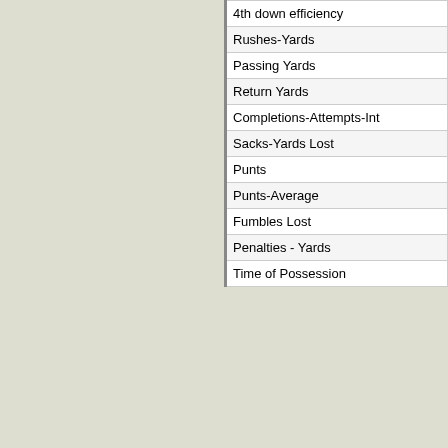| 4th down efficiency |
| Rushes-Yards |
| Passing Yards |
| Return Yards |
| Completions-Attempts-Int |
| Sacks-Yards Lost |
| Punts |
| Punts-Average |
| Fumbles Lost |
| Penalties - Yards |
| Time of Possession |
[Figure (logo): STATS PERFORM logo on black background with stylized parallel lines icon in red/orange/yellow gradient]
© 2022 by STATS PERFORM Any commercial use or di